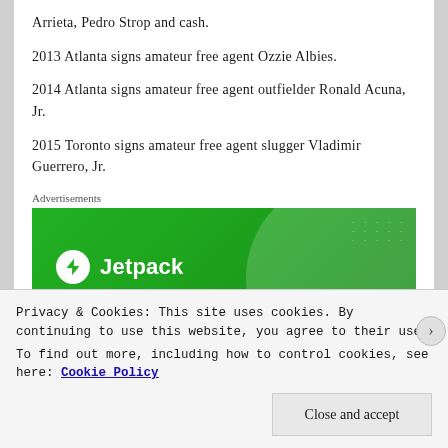Arrieta, Pedro Strop and cash.
2013 Atlanta signs amateur free agent Ozzie Albies.
2014 Atlanta signs amateur free agent outfielder Ronald Acuna, Jr.
2015 Toronto signs amateur free agent slugger Vladimir Guerrero, Jr.
[Figure (other): Jetpack advertisement banner with green background, large translucent circle, white Jetpack logo circle with lightning bolt icon, and 'Jetpack' text in white]
Privacy & Cookies: This site uses cookies. By continuing to use this website, you agree to their use.
To find out more, including how to control cookies, see here: Cookie Policy
Close and accept